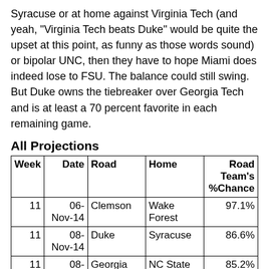Syracuse or at home against Virginia Tech (and yeah, "Virginia Tech beats Duke" would be quite the upset at this point, as funny as those words sound) or bipolar UNC, then they have to hope Miami does indeed lose to FSU. The balance could still swing. But Duke owns the tiebreaker over Georgia Tech and is at least a 70 percent favorite in each remaining game.
All Projections
| Week | Date | Road | Home | Road Team's %Chance |
| --- | --- | --- | --- | --- |
| 11 | 06-Nov-14 | Clemson | Wake Forest | 97.1% |
| 11 | 08-Nov-14 | Duke | Syracuse | 86.6% |
| 11 | 08-Nov-14 | Georgia Tech | NC State | 85.2% |